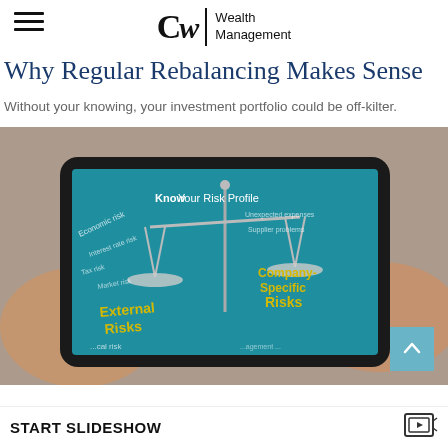CW | Wealth Management
Why Regular Rebalancing Makes Sense
Without your knowing, your investment portfolio could be off-kilter.
[Figure (photo): Person holding a tablet displaying a risk profile infographic with a balance scale showing 'External Risks' and 'Company-Specific Risks', with text 'Know Your Risk Profile', 'Economic risk', 'Tax risk', 'Interest rate risk', 'Market risk', 'Supplier problems', 'Unexpected expenses']
START SLIDESHOW